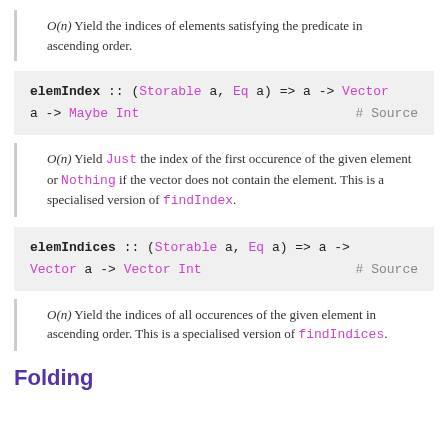O(n) Yield the indices of elements satisfying the predicate in ascending order.
elemIndex :: (Storable a, Eq a) => a -> Vector a -> Maybe Int  # Source
O(n) Yield Just the index of the first occurence of the given element or Nothing if the vector does not contain the element. This is a specialised version of findIndex.
elemIndices :: (Storable a, Eq a) => a -> Vector a -> Vector Int  # Source
O(n) Yield the indices of all occurences of the given element in ascending order. This is a specialised version of findIndices.
Folding